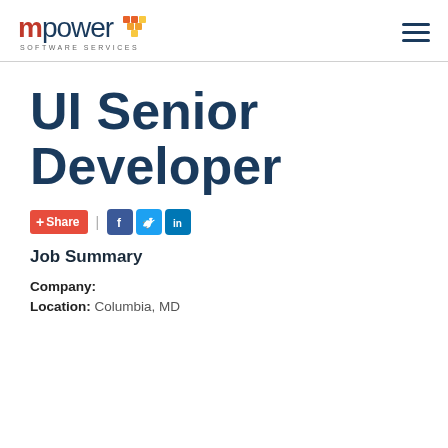[Figure (logo): mpower Software Services logo with red 'm', dark blue 'power', and a diamond/grid icon in orange and yellow]
UI Senior Developer
+Share | Facebook | Twitter | LinkedIn
Job Summary
Company:
Location: Columbia, MD